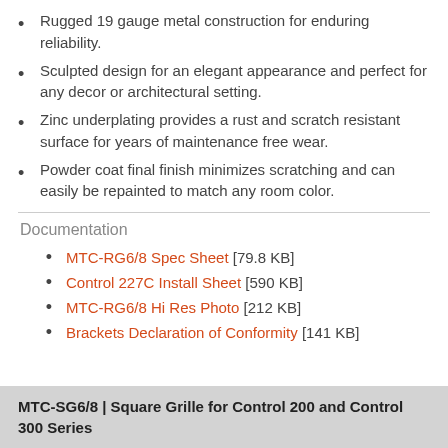Rugged 19 gauge metal construction for enduring reliability.
Sculpted design for an elegant appearance and perfect for any decor or architectural setting.
Zinc underplating provides a rust and scratch resistant surface for years of maintenance free wear.
Powder coat final finish minimizes scratching and can easily be repainted to match any room color.
Documentation
MTC-RG6/8 Spec Sheet [79.8 KB]
Control 227C Install Sheet [590 KB]
MTC-RG6/8 Hi Res Photo [212 KB]
Brackets Declaration of Conformity [141 KB]
MTC-SG6/8 | Square Grille for Control 200 and Control 300 Series